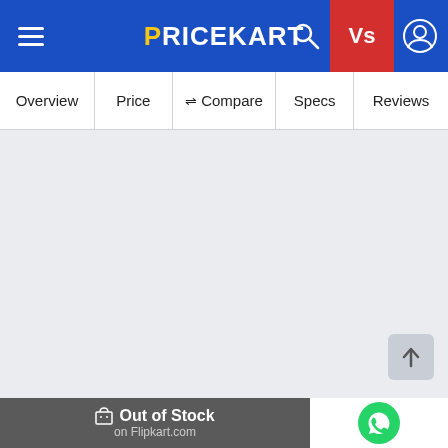PRICEKART
[Figure (screenshot): Navigation tab bar with tabs: Overview, Price, Compare, Specs, Reviews]
[Figure (screenshot): Empty grey content area with scroll-to-top button in bottom right]
Out of Stock on Flipkart.com